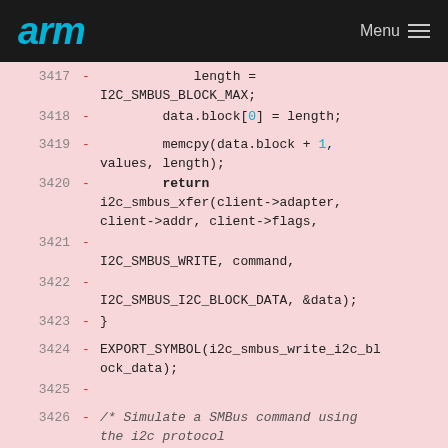arm  Menu
3417 -     length = I2C_SMBUS_BLOCK_MAX;
3418 -     data.block[0] = length;
3419 -     memcpy(data.block + 1, values, length);
3420 -     return i2c_smbus_xfer(client->adapter, client->addr, client->flags,
3421 -     I2C_SMBUS_WRITE, command,
3422 -     I2C_SMBUS_I2C_BLOCK_DATA, &data);
3423 - }
3424 - EXPORT_SYMBOL(i2c_smbus_write_i2c_block_data);
3425 -
3426 - /* Simulate a SMBus command using the i2c protocol
3427 -    No checking of parameters is done!  */